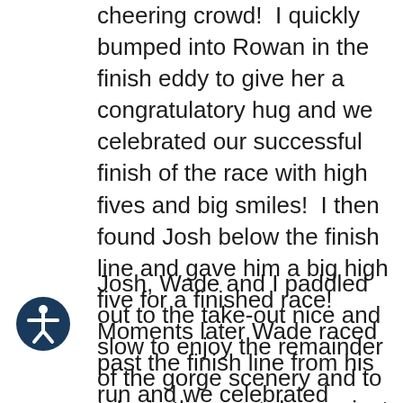cheering crowd!  I quickly bumped into Rowan in the finish eddy to give her a congratulatory hug and we celebrated our successful finish of the race with high fives and big smiles!  I then found Josh below the finish line and gave him a big high five for a finished race!  Moments later Wade raced past the finish line from his run and we celebrated together!!
Josh, Wade and I paddled out to the take-out nice and slow to enjoy the remainder of the gorge scenery and to take in the great day we just had.  We were passed by many of the other racers who all gave us some nice congrats and encouraging words.  And